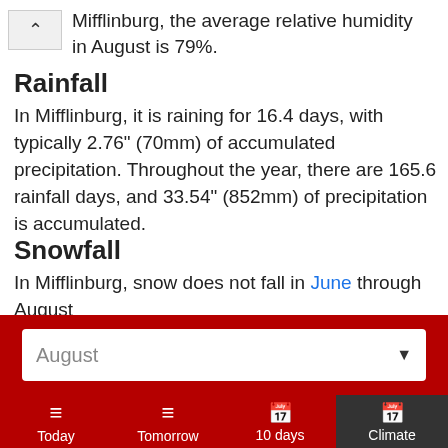Mifflinburg, the average relative humidity in August is 79%.
Rainfall
In Mifflinburg, it is raining for 16.4 days, with typically 2.76" (70mm) of accumulated precipitation. Throughout the year, there are 165.6 rainfall days, and 33.54" (852mm) of precipitation is accumulated.
Snowfall
In Mifflinburg, snow does not fall in June through August
August
Today
Tomorrow
10 days
Climate